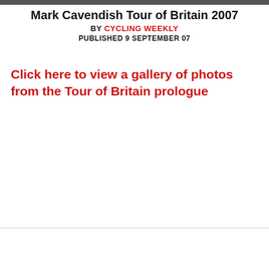Mark Cavendish Tour of Britain 2007
BY CYCLING WEEKLY
PUBLISHED 9 SEPTEMBER 07
Click here to view a gallery of photos from the Tour of Britain prologue